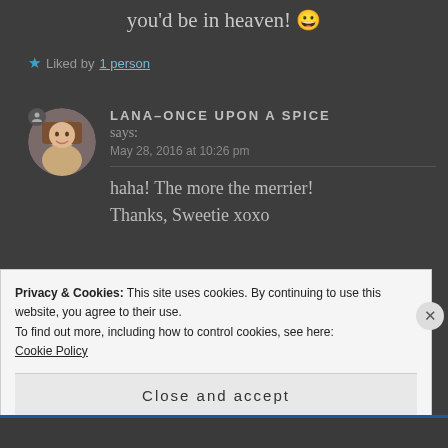you'd be in heaven! 😀
★ Liked by 1 person
LANA–ONCE UPON A SPICE says: May 28, 2016 at 10:26 pm
haha! The more the merrier! Thanks, Sweetie xoxo
Privacy & Cookies: This site uses cookies. By continuing to use this website, you agree to their use. To find out more, including how to control cookies, see here: Cookie Policy
Close and accept